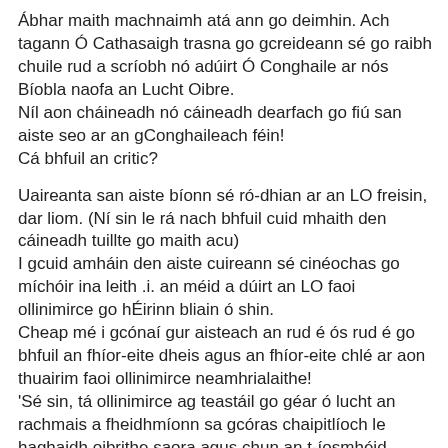Ábhar maith machnaimh atá ann go deimhin. Ach tagann Ó Cathasaigh trasna go gcreideann sé go raibh chuile rud a scríobh nó adúirt Ó Conghaile ar nós Bíobla naofa an Lucht Oibre.
Níl aon cháineadh nó cáineadh dearfach go fiú san aiste seo ar an gConghaileach féin!
Cá bhfuil an critic?
Uaireanta san aiste bíonn sé ró-dhian ar an LO freisin, dar liom. (Ní sin le rá nach bhfuil cuid mhaith den cáineadh tuillte go maith acu)
I gcuid amháin den aiste cuireann sé cinéochas go míchóir ina leith .i. an méid a dúirt an LO faoi ollinimirce go hÉirinn bliain ó shin.
Cheap mé i gcónaí gur aisteach an rud é ós rud é go bhfuil an fhíor-eite dheis agus an fhíor-eite chlé ar aon thuairim faoi ollinimirce neamhrialaithe!
'Sé sin, tá ollinimirce ag teastáil go géar ó lucht an rachmais a fheidhmíonn sa gcóras chaipitlíoch le haghaidh oibrithe saora agus chun an t-íosmhéid páidhe a shárú, ach tá Ó Cathasaigh agus an fhíor-eite chlé de thuairim chéanna is a